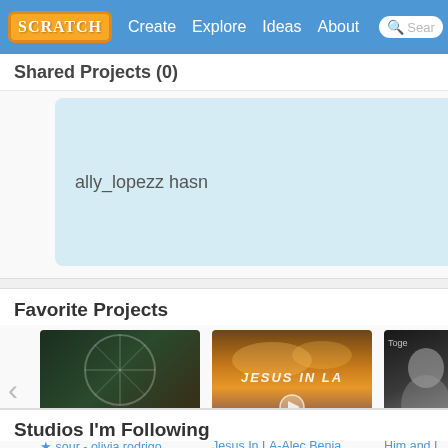SCRATCH | Create | Explore | Ideas | About | Search
Shared Projects (0)
ally_lopezz hasn't shared any projects yet.
Favorite Projects
[Figure (screenshot): Project thumbnail: SOUR BLOCKSHADE - dark carnival/ferris wheel aesthetic]
★ sour - olivia rodrigo ...
by starrii_sprinkles
[Figure (screenshot): Project thumbnail: JESUS IN LA - sunset clouds sky background]
Jesus In LA-Alec Benja...
by domthebomb3000
[Figure (screenshot): Project thumbnail: Him and... - portrait of a woman smiling, text 'Toge']
Him and I...
by juliaw20
Studios I'm Following